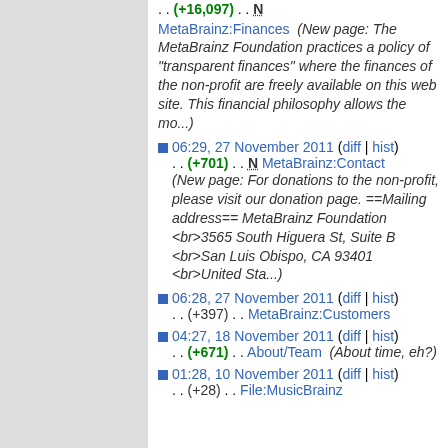. . (+16,097) . . N MetaBrainz:Finances (New page: The MetaBrainz Foundation practices a policy of "transparent finances" where the finances of the non-profit are freely available on this web site. This financial philosophy allows the mo...)
06:29, 27 November 2011 (diff | hist) . . (+701) . . N MetaBrainz:Contact (New page: For donations to the non-profit, please visit our donation page. ==Mailing address== MetaBrainz Foundation <br>3565 South Higuera St, Suite B <br>San Luis Obispo, CA 93401 <br>United Sta...)
06:28, 27 November 2011 (diff | hist) . . (+397) . . MetaBrainz:Customers
04:27, 18 November 2011 (diff | hist) . . (+671) . . About/Team (About time, eh?)
01:28, 10 November 2011 (diff | hist) . . (+28) . . File:MusicBrainz